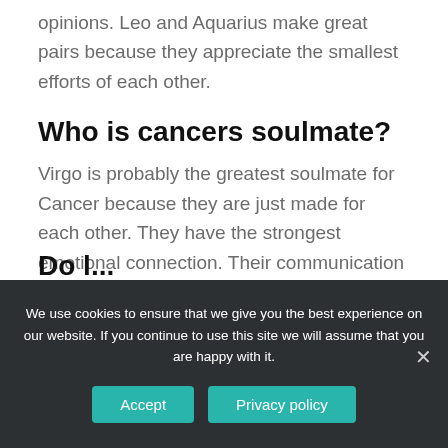opinions. Leo and Aquarius make great pairs because they appreciate the smallest efforts of each other.
Who is cancers soulmate?
Virgo is probably the greatest soulmate for Cancer because they are just made for each other. They have the strongest emotional connection. Their communication skills, and trust match nicely.
We use cookies to ensure that we give you the best experience on our website. If you continue to use this site we will assume that you are happy with it.